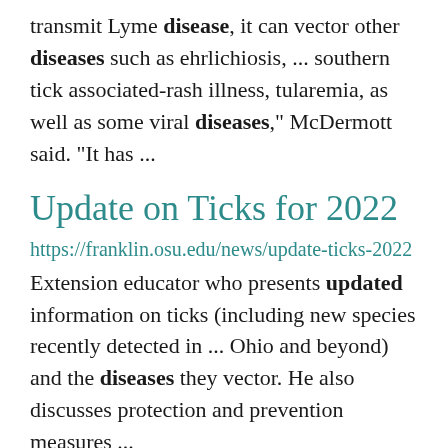transmit Lyme disease, it can vector other diseases such as ehrlichiosis, ... southern tick associated-rash illness, tularemia, as well as some viral diseases," McDermott said. "It has ...
Update on Ticks for 2022
https://franklin.osu.edu/news/update-ticks-2022
Extension educator who presents updated information on ticks (including new species recently detected in ... Ohio and beyond) and the diseases they vector. He also discusses protection and prevention measures ...